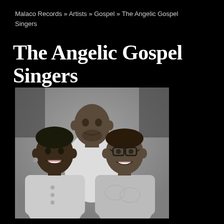Malaco Records » Artists » Gospel » The Angelic Gospel Singers
The Angelic Gospel Singers
[Figure (photo): Black and white portrait photograph of three members of The Angelic Gospel Singers. A man stands in the back center wearing a white outfit. Two women are in the front — one on the left and one on the right (wearing glasses), both smiling.]